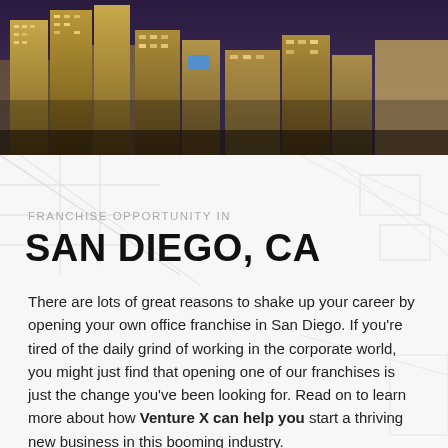[Figure (photo): Nighttime cityscape photo of San Diego showing tall modern skyscrapers and high-rise buildings against a dark sky, taken at dusk or night with interior building lights visible.]
FRANCHISE OPPORTUNITY IN
SAN DIEGO, CA
There are lots of great reasons to shake up your career by opening your own office franchise in San Diego. If you’re tired of the daily grind of working in the corporate world, you might just find that opening one of our franchises is just the change you’ve been looking for. Read on to learn more about how Venture X can help you start a thriving new business in this booming industry.